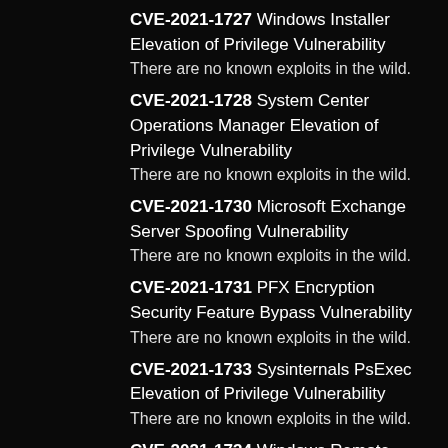CVE-2021-1727 Windows Installer Elevation of Privilege Vulnerability
There are no known exploits in the wild.
CVE-2021-1728 System Center Operations Manager Elevation of Privilege Vulnerability
There are no known exploits in the wild.
CVE-2021-1730 Microsoft Exchange Server Spoofing Vulnerability
There are no known exploits in the wild.
CVE-2021-1731 PFX Encryption Security Feature Bypass Vulnerability
There are no known exploits in the wild.
CVE-2021-1733 Sysinternals PsExec Elevation of Privilege Vulnerability
There are no known exploits in the wild.
CVE-2021-1734 Windows Remote Procedure Call Information Disclosure Vulnerability